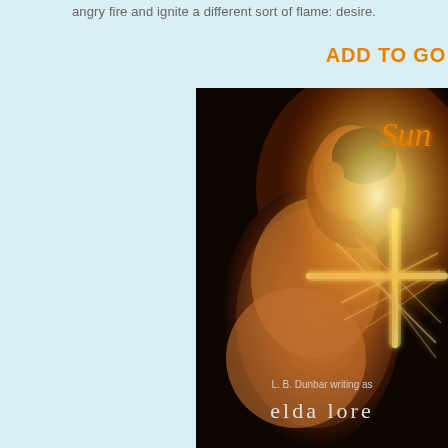angry fire and ignite a different sort of flame: desire.
ADD TO GO
[Figure (photo): Book cover for 'Sun' by L. B. Dunbar writing as elda lore. Shows a shirtless man's back and neck in warm golden-orange lighting against a dark background, with a glowing cross/grid light pattern. Text on cover reads 'Sun' in orange italic script at top right, and 'L. B. Dunbar writing as elda lore' in white text at bottom.]